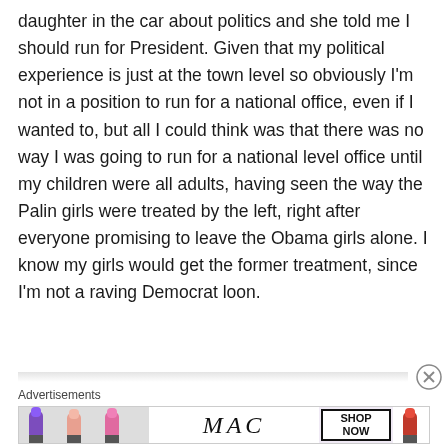daughter in the car about politics and she told me I should run for President. Given that my political experience is just at the town level so obviously I'm not in a position to run for a national office, even if I wanted to, but all I could think was that there was no way I was going to run for a national level office until my children were all adults, having seen the way the Palin girls were treated by the left, right after everyone promising to leave the Obama girls alone. I know my girls would get the former treatment, since I'm not a raving Democrat loon.
Advertisements
[Figure (other): MAC cosmetics advertisement banner showing lipsticks in purple, peach, and pink on the left, MAC italic logo in center, SHOP NOW button in a box, and a red lipstick on the right.]